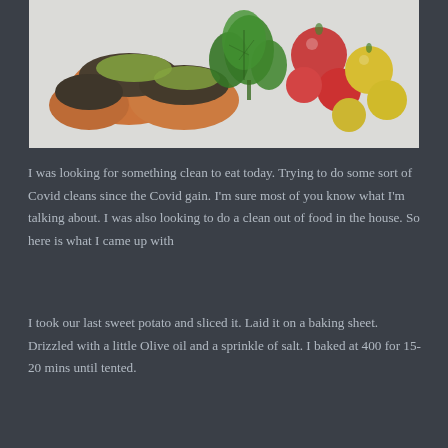[Figure (photo): Food photo showing stuffed sweet potato slices topped with mushrooms and green herb sauce, alongside colorful cherry tomatoes (red and yellow) and fresh parsley, on a white plate background.]
I was looking for something clean to eat today. Trying to do some sort of Covid cleans since the Covid gain. I'm sure most of you know what I'm talking about. I was also looking to do a clean out of food in the house. So here is what I came up with
I took our last sweet potato and sliced it. Laid it on a baking sheet. Drizzled with a little Olive oil and a sprinkle of salt. I baked at 400 for 15-20 mins until tented.